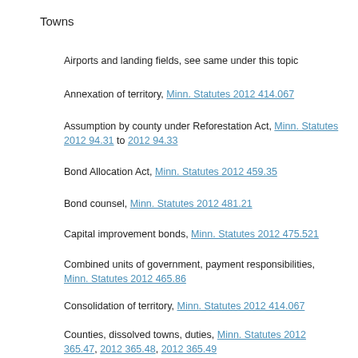Towns
Airports and landing fields, see same under this topic
Annexation of territory, Minn. Statutes 2012 414.067
Assumption by county under Reforestation Act, Minn. Statutes 2012 94.31 to 2012 94.33
Bond Allocation Act, Minn. Statutes 2012 459.35
Bond counsel, Minn. Statutes 2012 481.21
Capital improvement bonds, Minn. Statutes 2012 475.521
Combined units of government, payment responsibilities, Minn. Statutes 2012 465.86
Consolidation of territory, Minn. Statutes 2012 414.067
Counties, dissolved towns, duties, Minn. Statutes 2012 365.47, 2012 365.48, 2012 365.49